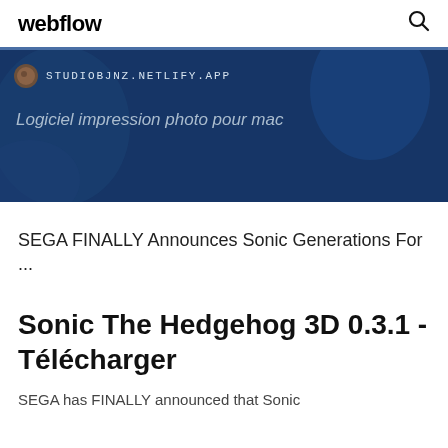webflow
[Figure (screenshot): Banner showing STUDIOBJNZ.NETLIFY.APP URL with favicon and subtitle text 'Logiciel impression photo pour mac' on a dark blue background]
SEGA FINALLY Announces Sonic Generations For ...
Sonic The Hedgehog 3D 0.3.1 - Télécharger
SEGA has FINALLY announced that Sonic